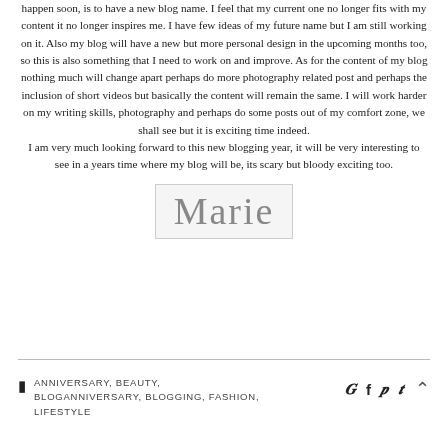happen soon, is to have a new blog name. I feel that my current one no longer fits with my content it no longer inspires me. I have few ideas of my future name but I am still working on it. Also my blog will have a new but more personal design in the upcoming months too, so this is also something that I need to work on and improve. As for the content of my blog nothing much will change apart perhaps do more photography related post and perhaps the inclusion of short videos but basically the content will remain the same. I will work harder on my writing skills, photography and perhaps do some posts out of my comfort zone, we shall see but it is exciting time indeed.
I am very much looking forward to this new blogging year, it will be very interesting to see in a years time where my blog will be, its scary but bloody exciting too.
[Figure (illustration): Cursive signature reading 'Marie' in grey script on light grey background, inside a light-bordered rectangle]
ANNIVERSARY, BEAUTY, BLOGANNIVERSARY, BLOGGING, FASHION, LIFESTYLE